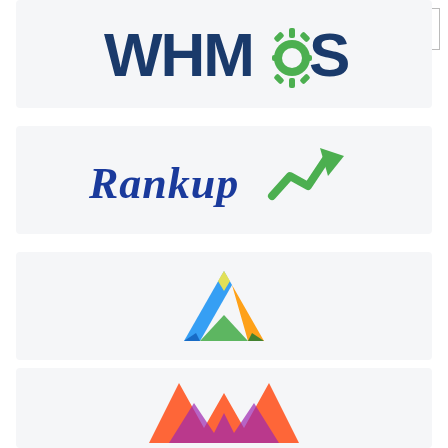[Figure (logo): WHMCS logo - bold dark blue and green text with gear icon]
[Figure (logo): Rankup logo - dark blue script text with green trending arrow graphic]
[Figure (logo): Colorful triangular ribbon logo in green, yellow, orange, and blue]
[Figure (logo): Partially visible orange and purple logo at bottom]